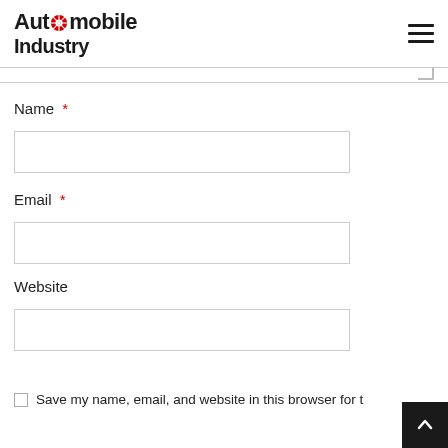Automobile Industry
Name *
Email *
Website
Save my name, email, and website in this browser for t